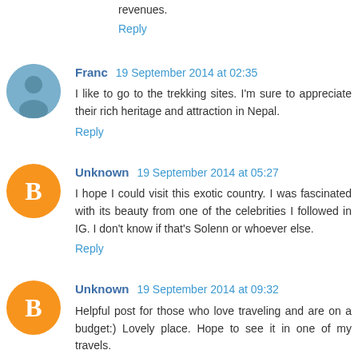revenues.
Reply
Franc  19 September 2014 at 02:35
I like to go to the trekking sites. I'm sure to appreciate their rich heritage and attraction in Nepal.
Reply
Unknown  19 September 2014 at 05:27
I hope I could visit this exotic country. I was fascinated with its beauty from one of the celebrities I followed in IG. I don't know if that's Solenn or whoever else.
Reply
Unknown  19 September 2014 at 09:32
Helpful post for those who love traveling and are on a budget:) Lovely place. Hope to see it in one of my travels.